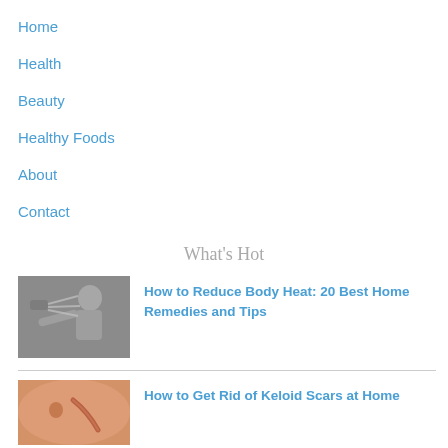Home
Health
Beauty
Healthy Foods
About
Contact
What's Hot
[Figure (photo): Man holding shower head spraying water at himself]
How to Reduce Body Heat: 20 Best Home Remedies and Tips
[Figure (photo): Close-up of a keloid scar on skin near belly button]
How to Get Rid of Keloid Scars at Home